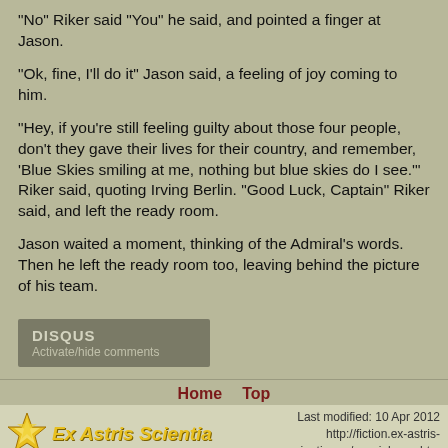"No" Riker said "You" he said, and pointed a finger at Jason.
"Ok, fine, I'll do it" Jason said, a feeling of joy coming to him.
"Hey, if you're still feeling guilty about those four people, don't they gave their lives for their country, and remember, 'Blue Skies smiling at me, nothing but blue skies do I see.'" Riker said, quoting Irving Berlin. "Good Luck, Captain" Riker said, and left the ready room.
Jason waited a moment, thinking of the Admiral's words. Then he left the ready room too, leaving behind the picture of his team.
[Figure (other): DISQUS Activate/hide comments button]
Home    Top
Last modified: 10 Apr 2012  http://fiction.ex-astris-scientia.org/special_ops.htm  Ex Astris Scientia logo